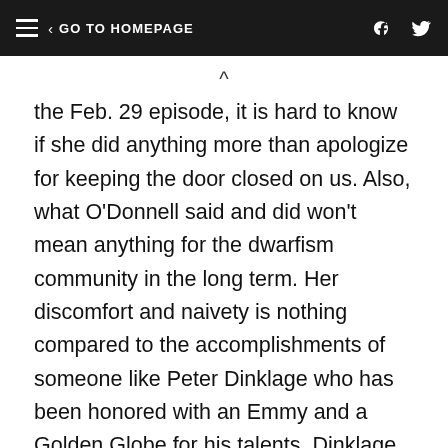GO TO HOMEPAGE
the Feb. 29 episode, it is hard to know if she did anything more than apologize for keeping the door closed on us. Also, what O'Donnell said and did won't mean anything for the dwarfism community in the long term. Her discomfort and naivety is nothing compared to the accomplishments of someone like Peter Dinklage who has been honored with an Emmy and a Golden Globe for his talents. Dinklage and many others in education, law, medicine, politics and a wide array of professional fields are elevating the dwarfism community to a place in which we are recognized and valued for our